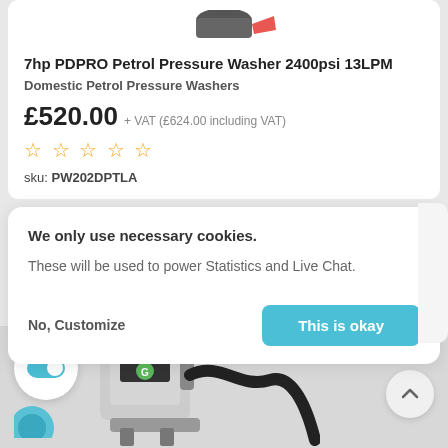7hp PDPRO Petrol Pressure Washer 2400psi 13LPM
Domestic Petrol Pressure Washers
£520.00 + VAT (£624.00 including VAT)
sku: PW202DPTLA
We only use necessary cookies.
These will be used to power Statistics and Live Chat.
No, Customize
This is okay
[Figure (photo): Vacuum/gutter cleaning product with hose, partially visible at bottom of page]